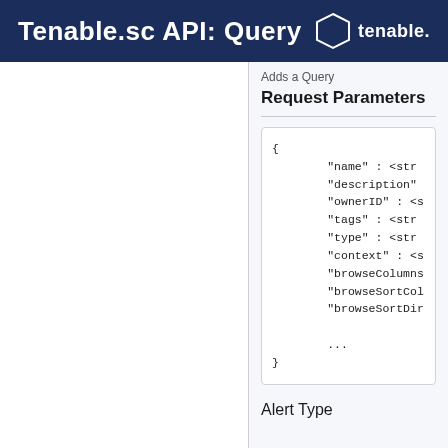Tenable.sc API: Query
Adds a Query
Request Parameters
{
    "name" : <str
    "description"
    "ownerID" : <s
    "tags" : <str
    "type" : <str
    "context" : <s
    "browseColumns
    "browseSortCol
    "browseSortDir

    ...
}
Alert Type